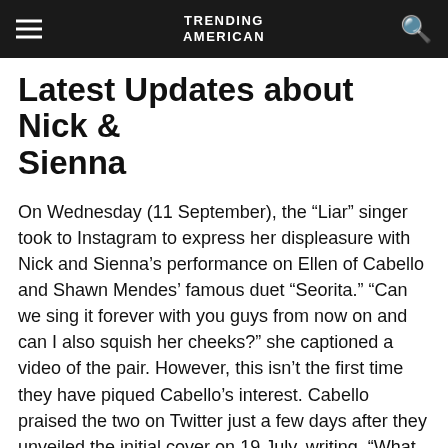TRENDING AMERICAN
Latest Updates about Nick & Sienna
On Wednesday (11 September), the “Liar” singer took to Instagram to express her displeasure with Nick and Sienna’s performance on Ellen of Cabello and Shawn Mendes’ famous duet “Seorita.” “Can we sing it forever with you guys from now on and can I also squish her cheeks?” she captioned a video of the pair. However, this isn’t the first time they have piqued Cabello’s interest. Cabello praised the two on Twitter just a few days after they unveiled the initial cover on 19 July, writing, “What a princess, what a grin!!!!!” It made me melt to see you two together!!!! “I adore you guys.” Mendes also added his two cents, captioning the video, “Wow well I’m melting.”